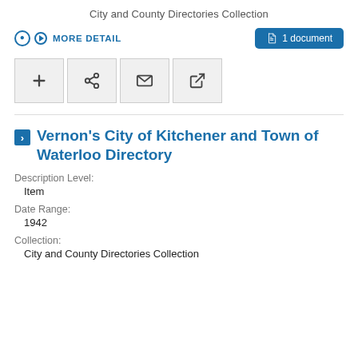City and County Directories Collection
MORE DETAIL | 1 document
[Figure (screenshot): Four icon buttons: add (+), share, email (envelope), and external link]
Vernon's City of Kitchener and Town of Waterloo Directory
Description Level:
Item
Date Range:
1942
Collection:
City and County Directories Collection